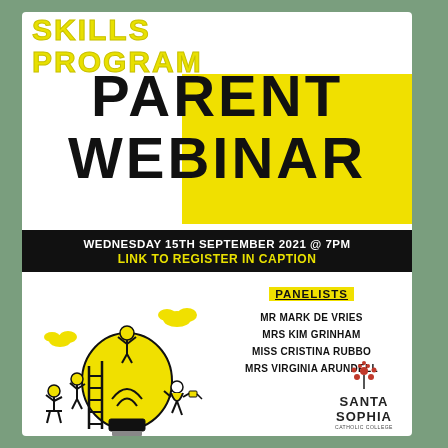SKILLS PROGRAM
PARENT WEBINAR
WEDNESDAY 15TH SEPTEMBER 2021 @ 7PM
LINK TO REGISTER IN CAPTION
[Figure (illustration): Yellow light bulb illustration with cartoon people climbing a ladder, sitting on top, and standing around it, with yellow clouds in the background]
PANELISTS
MR MARK DE VRIES
MRS KIM GRINHAM
MISS CRISTINA RUBBO
MRS VIRGINIA ARUNDELL
[Figure (logo): Santa Sophia Catholic College logo with decorative tree/flower icon above the text]